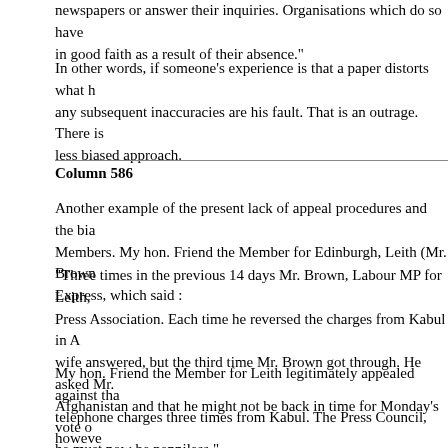newspapers or answer their inquiries. Organisations which do so have in good faith as a result of their absence."
In other words, if someone's experience is that a paper distorts what h any subsequent inaccuracies are his fault. That is an outrage. There is less biased approach.
Column 586
Another example of the present lack of appeal procedures and the bia Members. My hon. Friend the Member for Edinburgh, Leith (Mr. Brown Express, which said :
"Three times in the previous 14 days Mr. Brown, Labour MP for Leith, Press Association. Each time he reversed the charges from Kabul in A wife answered, but the third time Mr. Brown got through. He asked Mr. Afghanistan and that he might not be back in time for Monday's vote o he must now be penniless."
My hon. Friend the Member for Leith legitimately appealed against tha telephone charges three times from Kabul. The Press Council, howeve because my hon. Friend forced the Press Council to reconsider its dec which showed no report of any reversed charges from Kabul, that his a Press Council decision, but somehow my hon. Friend got his case reo
Mr. Waller rose --
Mr. Worthington : I shall give way just to give myself a breather.
Mr. Waller : The hon. Gentleman has quoted from the Press Council r complaints relate to matters of accuracy. The hon. Gentleman said tha